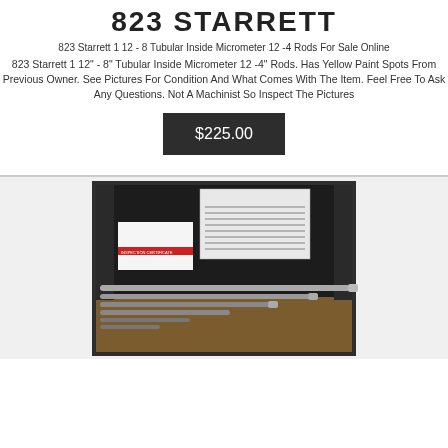823 STARRETT
823 Starrett 1 12 - 8 Tubular Inside Micrometer 12 -4 Rods For Sale Online
823 Starrett 1 12" - 8" Tubular Inside Micrometer 12 -4" Rods. Has Yellow Paint Spots From Previous Owner. See Pictures For Condition And What Comes With The Item. Feel Free To Ask Any Questions. Not A Machinist So Inspect The Pictures
$225.00
[Figure (photo): Photo of a Starrett 823 tubular inside micrometer set in a dark foam-lined case, showing multiple extension rods and documents/inspection certificate inside the case.]